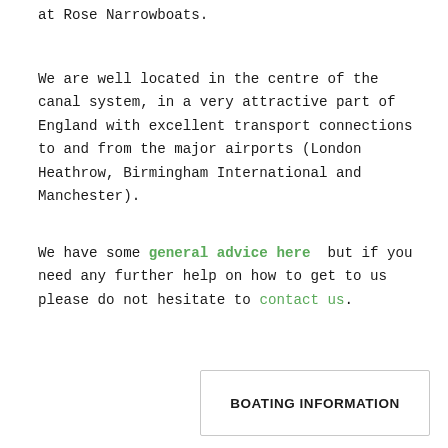at Rose Narrowboats.
We are well located in the centre of the canal system, in a very attractive part of England with excellent transport connections to and from the major airports (London Heathrow, Birmingham International and Manchester).
We have some general advice here but if you need any further help on how to get to us please do not hesitate to contact us.
BOATING INFORMATION